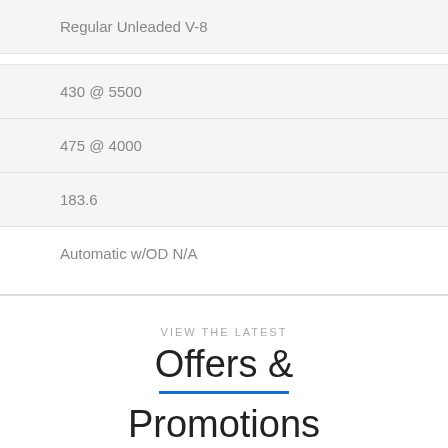Regular Unleaded V-8
430 @ 5500
475 @ 4000
183.6
Automatic w/OD N/A
VIEW THE LATEST
Offers & Promotions